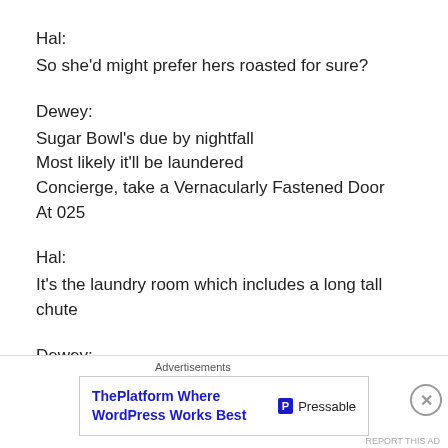Hal:
So she'd might prefer hers roasted for sure?
Dewey:
Sugar Bowl's due by nightfall
Most likely it'll be laundered
Concierge, take a Vernacularly Fastened Door
At 025
Hal:
It's the laundry room which includes a long tall chute
Dewey:
Put this on the laundry room's lock the best you can
Advertisements
[Figure (other): Advertisement banner for Pressable WordPress hosting: 'ThePlatform Where WordPress Works Best' with Pressable logo]